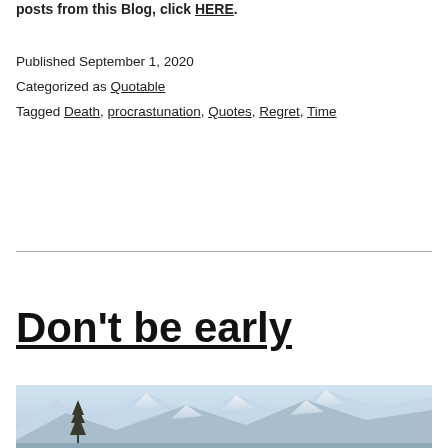posts from this Blog, click HERE.
Published September 1, 2020
Categorized as Quotable
Tagged Death, procrastunation, Quotes, Regret, Time
Don't be early
[Figure (photo): Mountain landscape with snow-capped peaks and a lone tree, blue sky background]